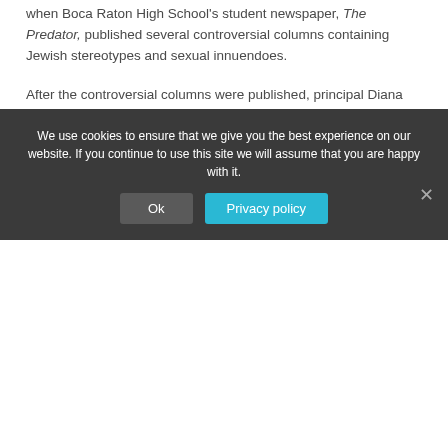when Boca Raton High School's student newspaper, The Predator, published several controversial columns containing Jewish stereotypes and sexual innuendoes.
After the controversial columns were published, principal Diana Harris demanded to review every issue of the newspaper before publication.
In protest, Eichas resigned his adviser position, as did the student editor.
Tagged reports, Spring 2000
We use cookies to ensure that we give you the best experience on our website. If you continue to use this site we will assume that you are happy with it.